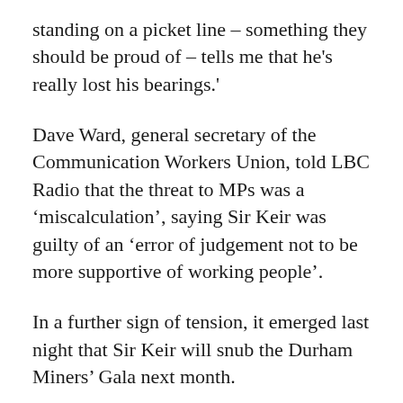standing on a picket line – something they should be proud of – tells me that he's really lost his bearings.'
Dave Ward, general secretary of the Communication Workers Union, told LBC Radio that the threat to MPs was a 'miscalculation', saying Sir Keir was guilty of an 'error of judgement not to be more supportive of working people'.
In a further sign of tension, it emerged last night that Sir Keir will snub the Durham Miners' Gala next month.
The annual celebration of trade unionism has been a diary fixture for Labour leaders, but Sir Keir is